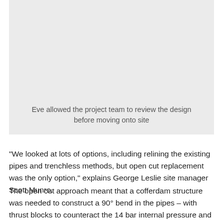[Figure (photo): Gray placeholder image area at the top of the page]
Eve allowed the project team to review the design before moving onto site
“We looked at lots of options, including relining the existing pipes and trenchless methods, but open cut replacement was the only option,” explains George Leslie site manager Scott Munro.
The open cut approach meant that a cofferdam structure was needed to construct a 90° bend in the pipes – with thrust blocks to counteract the 14 bar internal pressure and connect them to the existing pipes within the dual carriageway.